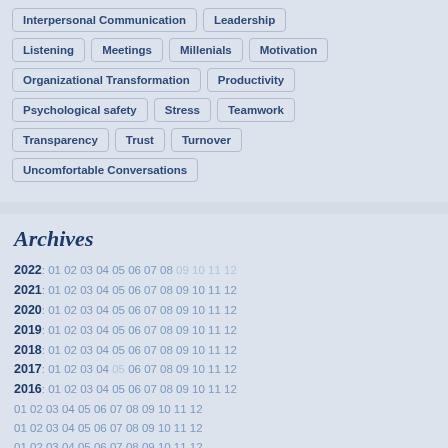Interpersonal Communication, Leadership
Listening, Meetings, Millenials, Motivation
Organizational Transformation, Productivity
Psychological safety, Stress, Teamwork
Transparency, Trust, Turnover
Uncomfortable Conversations
Archives
2022: 01 02 03 04 05 06 07 08 09 10 11 12
2021: 01 02 03 04 05 06 07 08 09 10 11 12
2020: 01 02 03 04 05 06 07 08 09 10 11 12
2019: 01 02 03 04 05 06 07 08 09 10 11 12
2018: 01 02 03 04 05 06 07 08 09 10 11 12
2017: 01 02 03 04 05 06 07 08 09 10 11 12
2016: 01 02 03 04 05 06 07 08 09 10 11 12
2015: 01 02 03 04 05 06 07 08 09 10 11 12
2014: 01 02 03 04 05 06 07 08 09 10 11 12
2013: 01 02 03 04 05 06 07 08 09 10 11 12